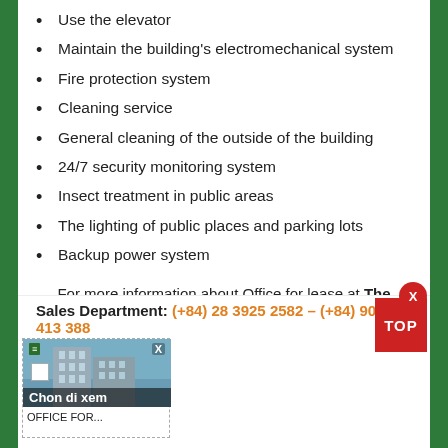Use the elevator
Maintain the building's electromechanical system
Fire protection system
Cleaning service
General cleaning of the outside of the building
24/7 security monitoring system
Insect treatment in public areas
The lighting of public places and parking lots
Backup power system
For more information about Office for lease at The World Center Building or District 1, please contact:
Sales Department: (+84) 28 3925 2582 – (+84) 901 413 388
[Figure (photo): Thumbnail popup showing a building photo with overlay text 'Chon di xem' and caption 'OFFICE FOR...']